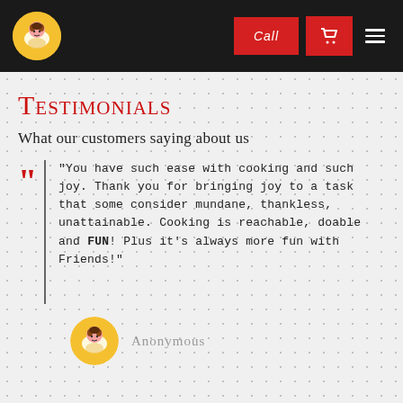Navigation bar with logo, Call button, cart button, menu button
Testimonials
What our customers saying about us
"You have such ease with cooking and such joy. Thank you for bringing joy to a task that some consider mundane, thankless, unattainable. Cooking is reachable, doable and FUN! Plus it's always more fun with Friends!"
Anonymous